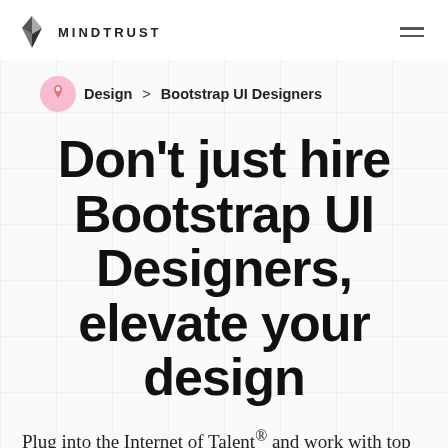MINDTRUST
Design > Bootstrap UI Designers
Don't just hire Bootstrap UI Designers, elevate your design
Plug into the Internet of Talent® and work with top Bootstrap UI Designers risk free. Don't hire a